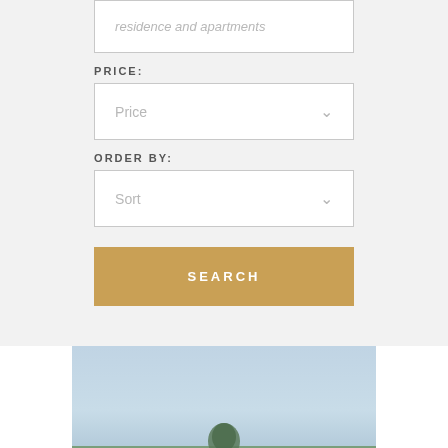residence and apartments
PRICE:
Price
ORDER BY:
Sort
SEARCH
[Figure (photo): Outdoor photo with light blue sky and green trees/vegetation at the bottom, appears to be a property or landscape photo]